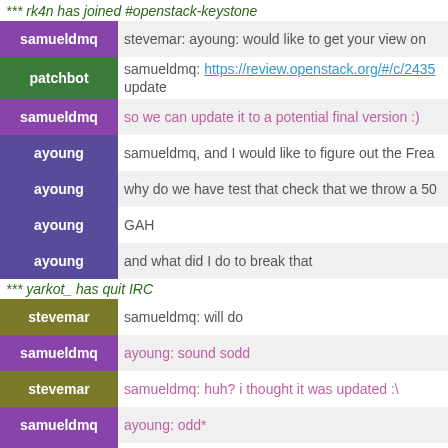*** rk4n has joined #openstack-keystone
samueldmq | stevemar: ayoung: would like to get your view on
patchbot | samueldmq: https://review.openstack.org/#/c/2435 update
samueldmq | so we can update it to a potential final version :)
ayoung | samueldmq, and I would like to figure out the Frea
ayoung | why do we have test that check that we throw a 50
ayoung | GAH
ayoung | and what did I do to break that
*** yarkot_ has quit IRC
stevemar | samueldmq: will do
samueldmq | ayoung: sound sodd
stevemar | samueldmq: huh? i thought it was updated :\
samueldmq | ayoung: odd*
samueldmq | stevemar: almost, just need a decision until I send
samueldmq | stevemar: you just need to read the doc in https://review.openstack.org/#/c/243585/25/keysto
patchbot | samueldmq: patch 243585 - keystone - API suppor
stevemar | samueldmq: yeah, reading it now
samueldmq | stevemar: and the suggestion henry raised tehre
*** roxanaghe has joined #openstack-keystone